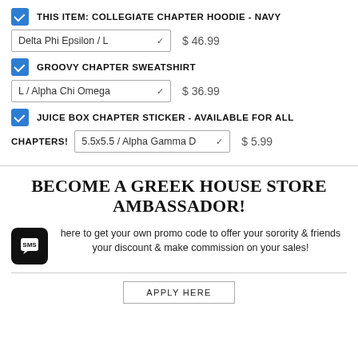THIS ITEM: COLLEGIATE CHAPTER HOODIE - NAVY | Delta Phi Epsilon / L | $46.99
GROOVY CHAPTER SWEATSHIRT | L / Alpha Chi Omega | $36.99
JUICE BOX CHAPTER STICKER - AVAILABLE FOR ALL CHAPTERS! | 5.5x5.5 / Alpha Gamma D... | $5.99
BECOME A GREEK HOUSE STORE AMBASSADOR!
here to get your own promo code to offer your sorority & friends your discount & make commission on your sales!
APPLY HERE